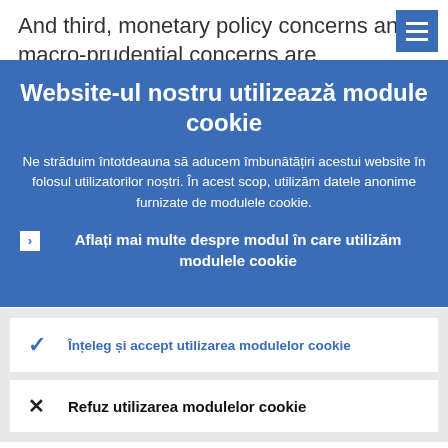And third, monetary policy concerns and macro-prudential concerns are
Website-ul nostru utilizează module cookie
Ne străduim întotdeauna să aducem îmbunătățiri acestui website în folosul utilizatorilor noștri. În acest scop, utilizăm datele anonime furnizate de modulele cookie.
Aflați mai multe despre modul în care utilizăm modulele cookie
Înțeleg și accept utilizarea modulelor cookie
Refuz utilizarea modulelor cookie